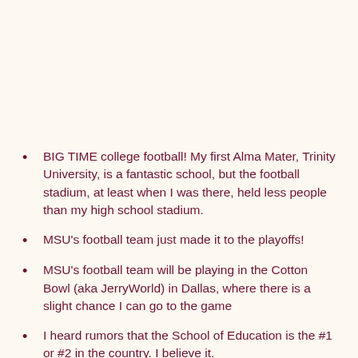BIG TIME college football! My first Alma Mater, Trinity University, is a fantastic school, but the football stadium, at least when I was there, held less people than my high school stadium.
MSU's football team just made it to the playoffs!
MSU's football team will be playing in the Cotton Bowl (aka JerryWorld) in Dallas, where there is a slight chance I can go to the game
I heard rumors that the School of Education is the #1 or #2 in the country. I believe it.
Fantastic, professional professors.